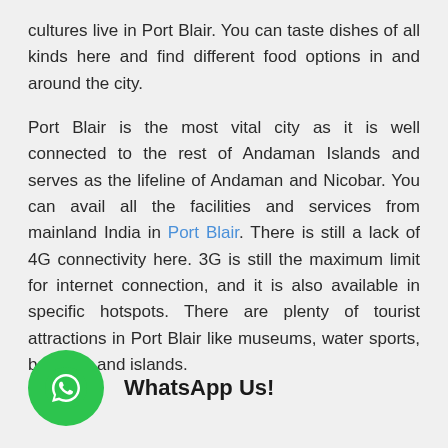cultures live in Port Blair. You can taste dishes of all kinds here and find different food options in and around the city.
Port Blair is the most vital city as it is well connected to the rest of Andaman Islands and serves as the lifeline of Andaman and Nicobar. You can avail all the facilities and services from mainland India in Port Blair. There is still a lack of 4G connectivity here. 3G is still the maximum limit for internet connection, and it is also available in specific hotspots. There are plenty of tourist attractions in Port Blair like museums, water sports, beaches and islands.
[Figure (logo): Green circular WhatsApp icon with phone/speech bubble logo, followed by bold text 'WhatsApp Us!']